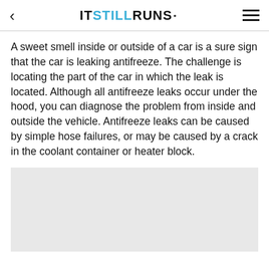IT STILL RUNS.
A sweet smell inside or outside of a car is a sure sign that the car is leaking antifreeze. The challenge is locating the part of the car in which the leak is located. Although all antifreeze leaks occur under the hood, you can diagnose the problem from inside and outside the vehicle. Antifreeze leaks can be caused by simple hose failures, or may be caused by a crack in the coolant container or heater block.
[Figure (other): Light gray advertisement placeholder box]